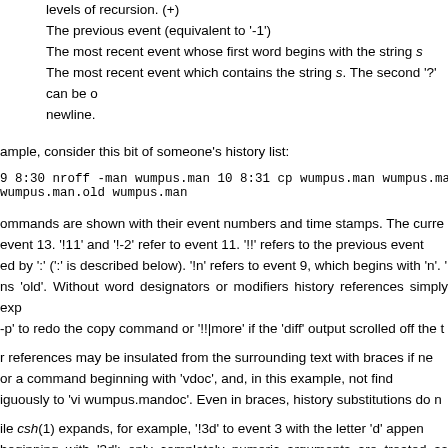levels of recursion. (+)
The previous event (equivalent to '-1')
The most recent event whose first word begins with the string s
The most recent event which contains the string s. The second '?' can be omitted if it is followed by a newline.
ample, consider this bit of someone’s history list:
9 8:30 nroff -man wumpus.man 10 8:31 cp wumpus.man wumpus.man.old 1
wumpus.man.old wumpus.man
ommands are shown with their event numbers and time stamps. The curre event 13. '!11' and '!-2' refer to event 11. '!!' refers to the previous event ed by ':' (':' is described below). '!n' refers to event 9, which begins with 'n'. ' ns 'old'. Without word designators or modifiers history references simply exp -p' to redo the copy command or '!!|more' if the 'diff' output scrolled off the t
r references may be insulated from the surrounding text with braces if ne or a command beginning with 'vdoc', and, in this example, not find iguously to 'vi wumpus.mandoc'. Even in braces, history substitutions do n
ile csh(1) expands, for example, '!3d' to event 3 with the letter 'd' appen beginning with '3d'; only completely numeric arguments are treated as even events beginning with numbers. To expand '!3d' as in csh(1) say '!{3}d'.
ect words from an event we can follow the event specification by a ':' and ords of an input line are numbered from 0, the first (usually command) w ent) being 1, etc. The basic word designators are: